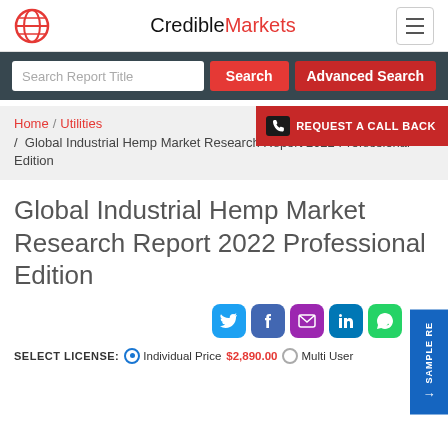CredibleMarkets
Search Report Title | Search | Advanced Search
Home / Utilities / Global Industrial Hemp Market Research Report 2022 Professional Edition
REQUEST A CALL BACK
Global Industrial Hemp Market Research Report 2022 Professional Edition
SELECT LICENSE: Individual Price $2,890.00 Multi User